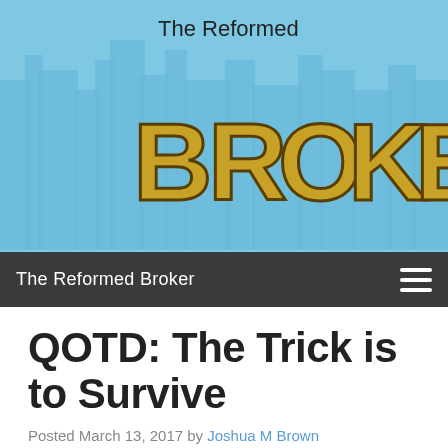[Figure (logo): The Reformed Broker website header banner with city skyline background in light blue, featuring large stylized 'BROKER' text logo with illustrated letter fills, and 'The Reformed' text above it]
The Reformed Broker
QOTD: The Trick is to Survive
Posted March 13, 2017 by Joshua M Brown